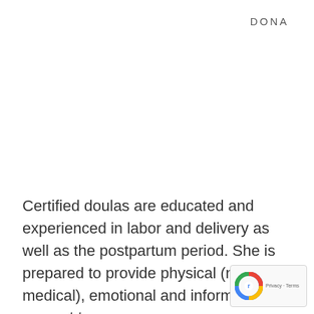DONA
Certified doulas are educated and experienced in labor and delivery as well as the postpartum period. She is prepared to provide physical (non-medical), emotional and informative support to